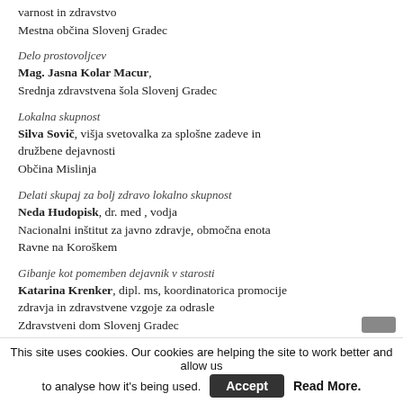varnost in zdravstvo
Mestna občina Slovenj Gradec
Delo prostovoljcev
Mag. Jasna Kolar Macur,
Srednja zdravstvena šola Slovenj Gradec
Lokalna skupnost
Silva Sovič, višja svetovalka za splošne zadeve in družbene dejavnosti
Občina Mislinja
Delati skupaj za bolj zdravo lokalno skupnost
Neda Hudopisk, dr. med , vodja
Nacionalni inštitut za javno zdravje, območna enota
Ravne na Koroškem
Gibanje kot pomemben dejavnik v starosti
Katarina Krenker, dipl. ms, koordinatorica promocije zdravja in zdravstvene vzgoje za odrasle
Zdravstveni dom Slovenj Gradec
This site uses cookies. Our cookies are helping the site to work better and allow us to analyse how it's being used.